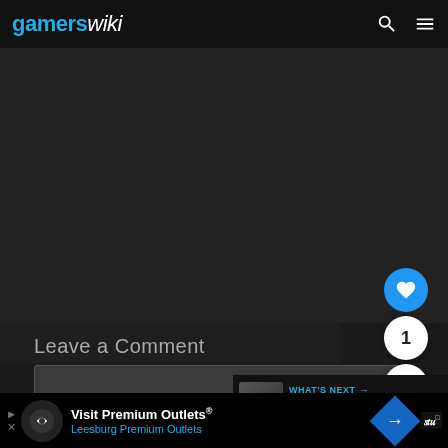gamerswiki
[Figure (screenshot): Dark content area of gamerswiki website]
Leave a Comment
[Figure (screenshot): Comment text input box]
[Figure (infographic): Heart like button (blue circle), count bubble showing 1, share button]
[Figure (infographic): WHAT'S NEXT arrow banner with Raid: Shadow Legends thumbnail]
[Figure (infographic): Advertisement bar: Visit Premium Outlets Leesburg Premium Outlets]